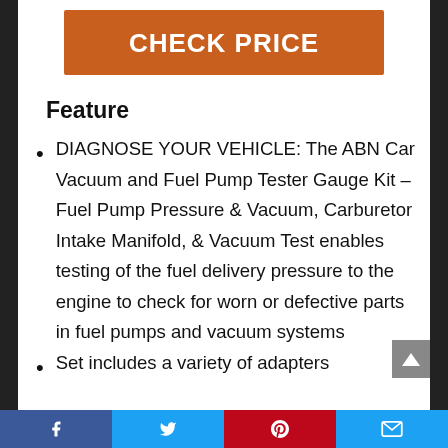CHECK PRICE
Feature
DIAGNOSE YOUR VEHICLE: The ABN Car Vacuum and Fuel Pump Tester Gauge Kit – Fuel Pump Pressure & Vacuum, Carburetor Intake Manifold, & Vacuum Test enables testing of the fuel delivery pressure to the engine to check for worn or defective parts in fuel pumps and vacuum systems
Set includes a variety of adapters